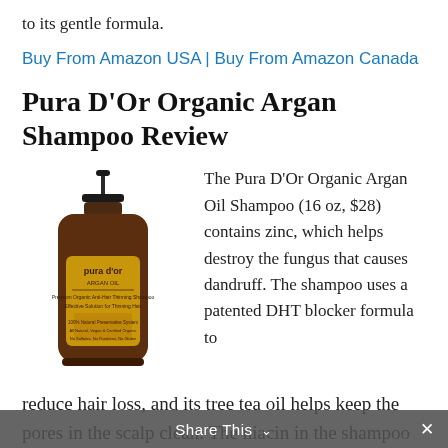to its gentle formula.
Buy From Amazon USA | Buy From Amazon Canada
Pura D'Or Organic Argan Shampoo Review
[Figure (photo): Photo of Pura D'Or Argan Oil shampoo pump bottle with gold label]
The Pura D'Or Organic Argan Oil Shampoo (16 oz, $28) contains zinc, which helps destroy the fungus that causes dandruff. The shampoo uses a patented DHT blocker formula to reduce hair loss, and its tree tea oil helps keep the pores in the scalp clean. The niacin in the shampoo will also help boost blood circulation in the scalp.
Share This ∨  ×